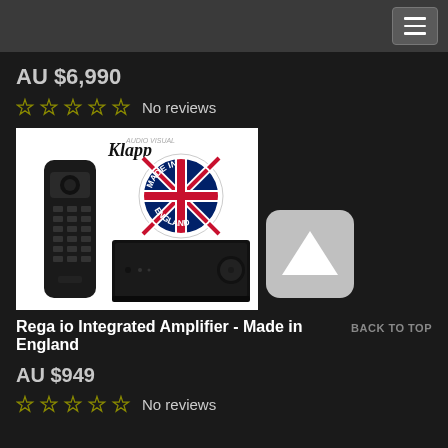Navigation menu bar with hamburger icon
AU $6,990
☆☆☆☆☆ No reviews
[Figure (photo): Rega io Integrated Amplifier product photo showing a black remote control, a 'Made in England' circular badge with UK flag, and a black amplifier unit. Klapp Audio Visual logo in top left of image.]
Rega io Integrated Amplifier - Made in England
BACK TO TOP
AU $949
☆☆☆☆☆ No reviews